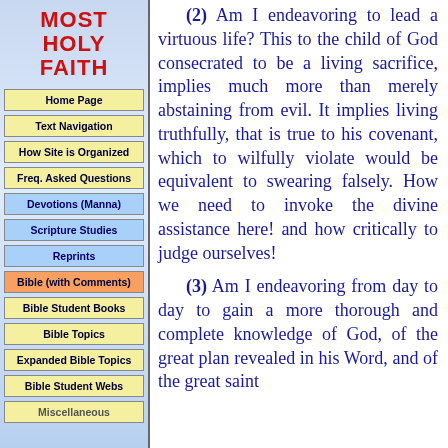MOST HOLY FAITH
Home Page
Text Navigation
How Site is Organized
Freq. Asked Questions
Devotions (Manna)
Scripture Studies
Reprints
Bible (with Comments)
Bible Student Books
Bible Topics
Expanded Bible Topics
Bible Student Webs
Miscellaneous
(2) Am I endeavoring to lead a virtuous life? This to the child of God consecrated to be a living sacrifice, implies much more than merely abstaining from evil. It implies living truthfully, that is true to his covenant, which to wilfully violate would be equivalent to swearing falsely. How we need to invoke the divine assistance here! and how critically to judge ourselves!
(3) Am I endeavoring from day to day to gain a more thorough and complete knowledge of God, of the great plan revealed in his Word, and of the great saint